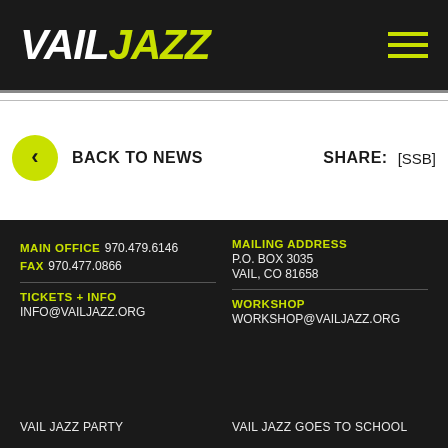VAIL JAZZ
< BACK TO NEWS   SHARE: [SSB]
MAIN OFFICE 970.479.6146
FAX 970.477.0866
MAILING ADDRESS
P.O. BOX 3035
VAIL, CO 81658
TICKETS + INFO
INFO@VAILJAZZ.ORG
WORKSHOP
WORKSHOP@VAILJAZZ.ORG
VAIL JAZZ PARTY
VAIL JAZZ GOES TO SCHOOL